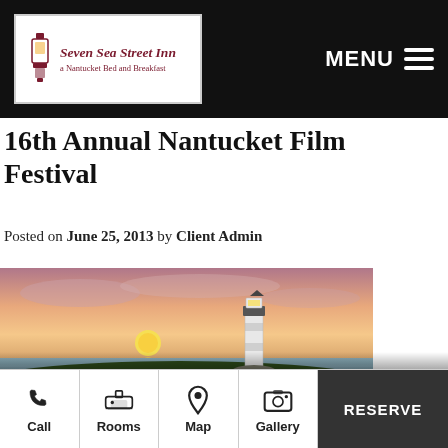Seven Sea Street Inn — a Nantucket Bed and Breakfast | MENU
16th Annual Nantucket Film Festival
Posted on June 25, 2013 by Client Admin
[Figure (photo): Sunset photo of a lighthouse on Nantucket with pink and orange sky and calm water]
The mission of the Nantucket Film Festival is to promote the cultural awareness and appreciation of screenwriting in the